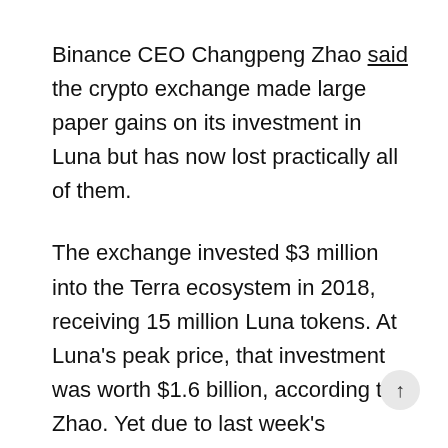Binance CEO Changpeng Zhao said the crypto exchange made large paper gains on its investment in Luna but has now lost practically all of them.
The exchange invested $3 million into the Terra ecosystem in 2018, receiving 15 million Luna tokens. At Luna's peak price, that investment was worth $1.6 billion, according to Zhao. Yet due to last week's collapse of Luna — and its related stablecoin TerraUSD (UST) — that investment has now lost this last...